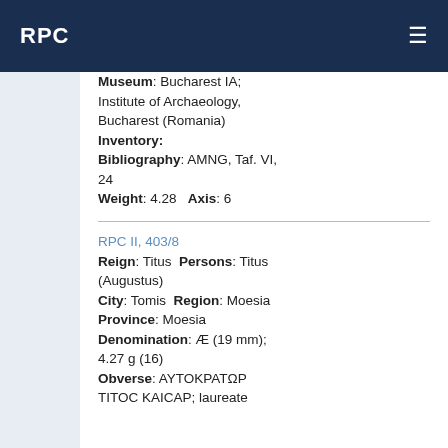RPC
Museum: Bucharest IA; Institute of Archaeology, Bucharest (Romania)
Inventory:
Bibliography: AMNG, Taf. VI, 24
Weight: 4.28   Axis: 6
RPC II, 403/8
Reign: Titus  Persons: Titus (Augustus)
City: Tomis  Region: Moesia
Province: Moesia
Denomination: Æ (19 mm); 4.27 g (16)
Obverse: AYTOKPATΩP TITOC KAICAP; laureate